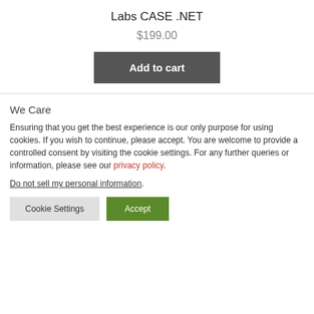Labs CASE .NET
$199.00
Add to cart
We Care
Ensuring that you get the best experience is our only purpose for using cookies. If you wish to continue, please accept. You are welcome to provide a controlled consent by visiting the cookie settings. For any further queries or information, please see our privacy policy.
Do not sell my personal information.
Cookie Settings
Accept